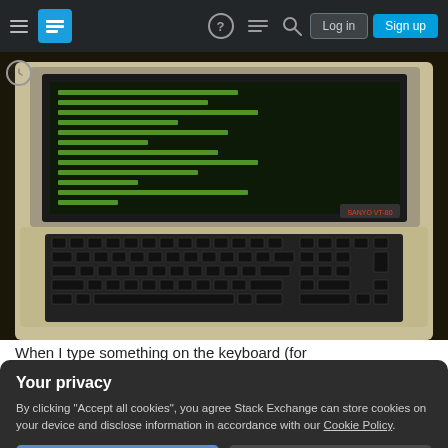Stack Exchange navigation bar with Log in and Sign up buttons
[Figure (photo): Photograph of a vintage computer terminal (Sanyo MBC-1200 or similar) with a green-phosphor CRT monitor displaying text and a full keyboard, on a dark surface]
When I type something on the keyboard (for
[Figure (other): Privacy consent overlay modal with title 'Your privacy', body text about accepting cookies, and two buttons: 'Accept all cookies' and 'Customize settings']
will display the characters on the screen?